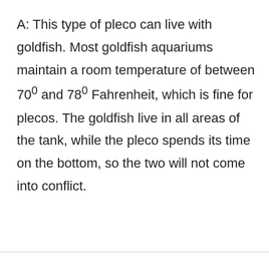A: This type of pleco can live with goldfish. Most goldfish aquariums maintain a room temperature of between 70° and 78° Fahrenheit, which is fine for plecos. The goldfish live in all areas of the tank, while the pleco spends its time on the bottom, so the two will not come into conflict.